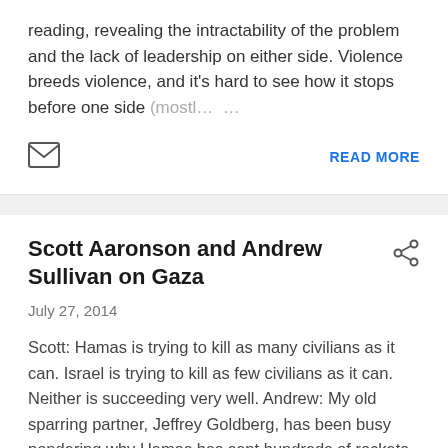reading, revealing the intractability of the problem and the lack of leadership on either side. Violence breeds violence, and it's hard to see how it stops before one side (mostl… …
READ MORE
Scott Aaronson and Andrew Sullivan on Gaza
July 27, 2014
Scott: Hamas is trying to kill as many civilians as it can. Israel is trying to kill as few civilians as it can. Neither is succeeding very well. Andrew: My old sparring partner, Jeffrey Goldberg, has been busy pondering why Hamas has sent hundreds of rockets – with no fatalities – into Isra… …